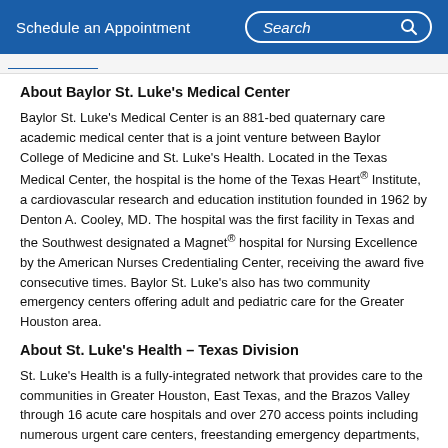Schedule an Appointment  Search
About Baylor St. Luke's Medical Center
Baylor St. Luke's Medical Center is an 881-bed quaternary care academic medical center that is a joint venture between Baylor College of Medicine and St. Luke's Health. Located in the Texas Medical Center, the hospital is the home of the Texas Heart® Institute, a cardiovascular research and education institution founded in 1962 by Denton A. Cooley, MD. The hospital was the first facility in Texas and the Southwest designated a Magnet® hospital for Nursing Excellence by the American Nurses Credentialing Center, receiving the award five consecutive times. Baylor St. Luke's also has two community emergency centers offering adult and pediatric care for the Greater Houston area.
About St. Luke's Health – Texas Division
St. Luke's Health is a fully-integrated network that provides care to the communities in Greater Houston, East Texas, and the Brazos Valley through 16 acute care hospitals and over 270 access points including numerous urgent care centers, freestanding emergency departments, and clinics conveniently located across the region. With a team of